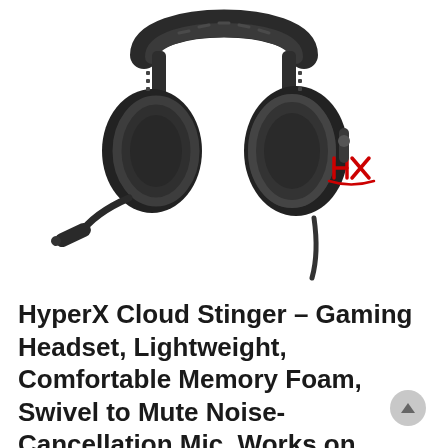[Figure (photo): HyperX Cloud Stinger gaming headset in black with red HX logo on the ear cup and an extended boom microphone, photographed from the left side on a white background.]
HyperX Cloud Stinger – Gaming Headset, Lightweight, Comfortable Memory Foam, Swivel to Mute Noise-Cancellation Mic, Works on